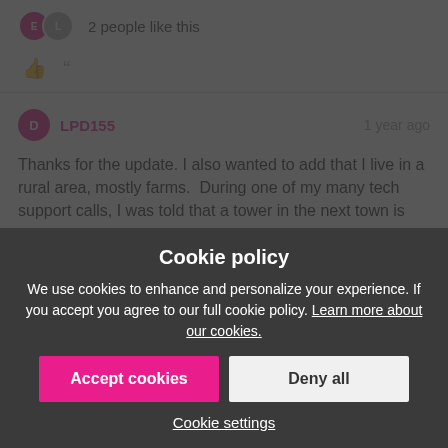2 people like this
Thanks for the update. I also wanted to add that I live in a rural area, mostly farms.  During one of my many tech support calls, I was told that a tower in the next town is off-line and all those customers have all been pushed to my tower, thereby possibly causing a congestion problem.  I've talked to many different reps and I'm so frustrated that I don't know what to believe anymore. My problems are continuing and have continued ever since. Prior to April, my internet was working great without issues.  This neighboring tower is still allegedly off-line, so not sure when or if that will get fixed. I am not certain that my problems are related to the neighboring tower but I'm getting patients and running out of options.  I also wanted to add:  T-Mobile home internet tech support is clueless. They are just trained to follow a step-by-step checklist that a 6th grade child can do. They are
Cookie policy
We use cookies to enhance and personalize your experience. If you accept you agree to our full cookie policy. Learn more about our cookies.
Accept cookies  Deny all
Cookie settings